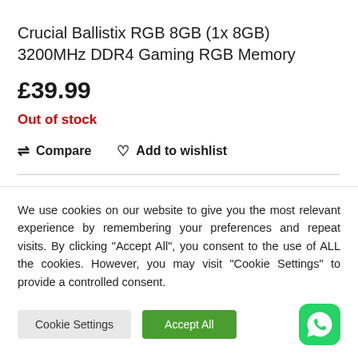Crucial Ballistix RGB 8GB (1x 8GB) 3200MHz DDR4 Gaming RGB Memory
£39.99
Out of stock
Compare   Add to wishlist
We use cookies on our website to give you the most relevant experience by remembering your preferences and repeat visits. By clicking "Accept All", you consent to the use of ALL the cookies. However, you may visit "Cookie Settings" to provide a controlled consent.
Cookie Settings   Accept All